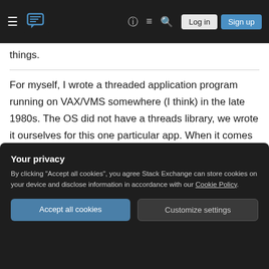Stack Exchange navigation bar with hamburger menu, logo, help, chat, search, Log in, Sign up
things.
For myself, I wrote a threaded application program running on VAX/VMS somewhere (I think) in the late 1980s. The OS did not have a threads library, we wrote it ourselves for this one particular app. When it comes down to it, all you need is the ability to assign a new value to the frame pointer register.
As far as the OS was concerned we were a single schedulable entity. Within the process, it was
Your privacy
By clicking "Accept all cookies", you agree Stack Exchange can store cookies on your device and disclose information in accordance with our Cookie Policy.
Accept all cookies
Customize settings
personally, but there was no sense that we were